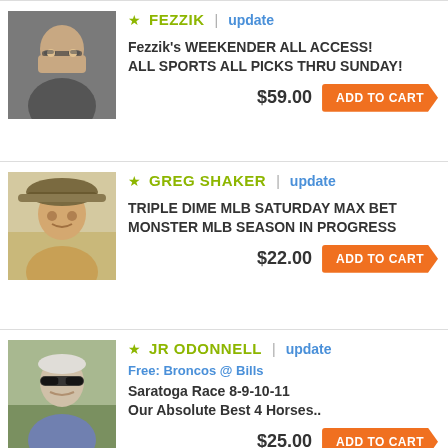[Figure (photo): Headshot of Fezzik, a man with glasses]
★ FEZZIK | update
Fezzik's WEEKENDER ALL ACCESS! ALL SPORTS ALL PICKS THRU SUNDAY!
$59.00  ADD TO CART
[Figure (photo): Headshot of Greg Shaker, a man wearing a hat]
★ GREG SHAKER | update
TRIPLE DIME MLB SATURDAY MAX BET MONSTER MLB SEASON IN PROGRESS
$22.00  ADD TO CART
[Figure (photo): Headshot of JR ODonnell, a man with sunglasses]
★ JR ODONNELL | update
Free: Broncos @ Bills
Saratoga Race 8-9-10-11
Our Absolute Best 4 Horses..
$25.00  ADD TO CART